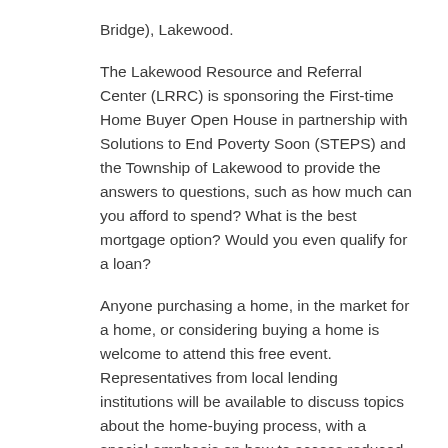Bridge), Lakewood.
The Lakewood Resource and Referral Center (LRRC) is sponsoring the First-time Home Buyer Open House in partnership with Solutions to End Poverty Soon (STEPS) and the Township of Lakewood to provide the answers to questions, such as how much can you afford to spend? What is the best mortgage option? Would you even qualify for a loan?
Anyone purchasing a home, in the market for a home, or considering buying a home is welcome to attend this free event. Representatives from local lending institutions will be available to discuss topics about the home-buying process, with a special emphasis on how to access reduced interest rates and down payment requirements with no PMI